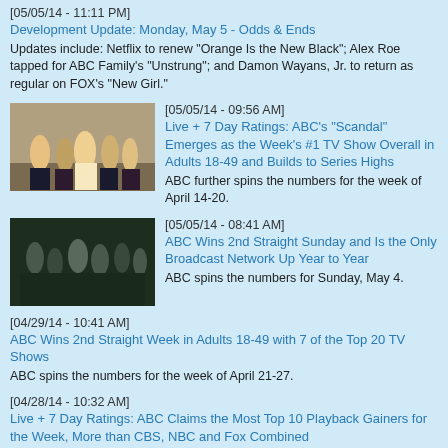[05/05/14 - 11:11 PM]
Development Update: Monday, May 5 - Odds & Ends
Updates include: Netflix to renew "Orange Is the New Black"; Alex Roe tapped for ABC Family's "Unstrung"; and Damon Wayans, Jr. to return as regular on FOX's "New Girl."
[Figure (photo): Group photo of TV show cast members dressed in formal attire]
[05/05/14 - 09:56 AM]
Live + 7 Day Ratings: ABC's "Scandal" Emerges as the Week's #1 TV Show Overall in Adults 18-49 and Builds to Series Highs
ABC further spins the numbers for the week of April 14-20.
[Figure (photo): Group photo of TV show cast members in dark outdoor setting]
[05/05/14 - 08:41 AM]
ABC Wins 2nd Straight Sunday and Is the Only Broadcast Network Up Year to Year
ABC spins the numbers for Sunday, May 4.
[04/29/14 - 10:41 AM]
ABC Wins 2nd Straight Week in Adults 18-49 with 7 of the Top 20 TV Shows
ABC spins the numbers for the week of April 21-27.
[04/28/14 - 10:32 AM]
Live + 7 Day Ratings: ABC Claims the Most Top 10 Playback Gainers for the Week, More than CBS, NBC and Fox Combined
ABC further spins the numbers for the week of April 7-13.